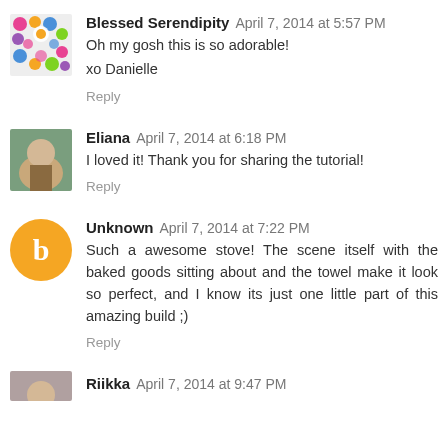[Figure (photo): Colorful mosaic/flower avatar for Blessed Serendipity]
Blessed Serendipity April 7, 2014 at 5:57 PM
Oh my gosh this is so adorable!

xo Danielle
Reply
[Figure (photo): Photo avatar showing a child outdoors for Eliana]
Eliana April 7, 2014 at 6:18 PM
I loved it! Thank you for sharing the tutorial!
Reply
[Figure (logo): Orange circle with white B letter - Blogger default avatar for Unknown]
Unknown April 7, 2014 at 7:22 PM
Such a awesome stove! The scene itself with the baked goods sitting about and the towel make it look so perfect, and I know its just one little part of this amazing build ;)
Reply
[Figure (photo): Small partial avatar for Riikka at bottom]